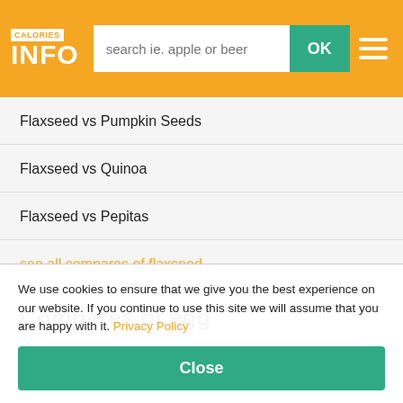CALORIES INFO — search ie. apple or beer — OK
Flaxseed vs Pumpkin Seeds
Flaxseed vs Quinoa
Flaxseed vs Pepitas
see all compares of flaxseed
Compares of egg
Egg vs Soybean
Egg vs Oatmeal
Egg vs Chicken
see all compares of egg
We use cookies to ensure that we give you the best experience on our website. If you continue to use this site we will assume that you are happy with it. Privacy Policy
Close